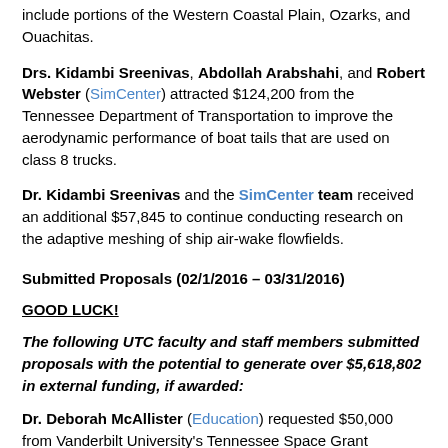include portions of the Western Coastal Plain, Ozarks, and Ouachitas.
Drs. Kidambi Sreenivas, Abdollah Arabshahi, and Robert Webster (SimCenter) attracted $124,200 from the Tennessee Department of Transportation to improve the aerodynamic performance of boat tails that are used on class 8 trucks.
Dr. Kidambi Sreenivas and the SimCenter team received an additional $57,845 to continue conducting research on the adaptive meshing of ship air-wake flowfields.
Submitted Proposals (02/1/2016 – 03/31/2016)
GOOD LUCK!
The following UTC faculty and staff members submitted proposals with the potential to generate over $5,618,802 in external funding, if awarded:
Dr. Deborah McAllister (Education) requested $50,000 from Vanderbilt University's Tennessee Space Grant Consortium to increase STEM learning for middle school students enrolled in the STEM Saturdays program, preservice teachers enrolled at UTC, and preservice and inservice